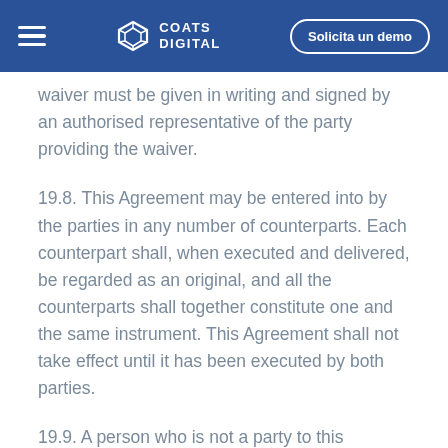Coats Digital — Solicita un demo
waiver must be given in writing and signed by an authorised representative of the party providing the waiver.
19.8. This Agreement may be entered into by the parties in any number of counterparts. Each counterpart shall, when executed and delivered, be regarded as an original, and all the counterparts shall together constitute one and the same instrument. This Agreement shall not take effect until it has been executed by both parties.
19.9. A person who is not a party to this